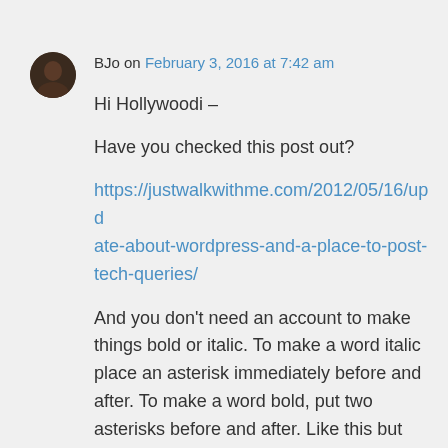BJo on February 3, 2016 at 7:42 am
Hi Hollywoodi –
Have you checked this post out?
https://justwalkwithme.com/2012/05/16/update-about-wordpress-and-a-place-to-post-tech-queries/
And you don't need an account to make things bold or italic. To make a word italic place an asterisk immediately before and after. To make a word bold, put two asterisks before and after. Like this but use * instead of the %